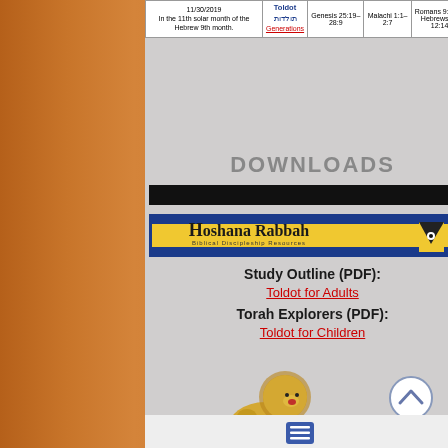| Date | Parasha | Torah | Haftarah | Brit Chadashah |
| --- | --- | --- | --- | --- |
| 11/30/2019 In the 11th solar month of the Hebrew 9th month. | Toldot תולדות Generations | Genesis 25:19–28:9 | Malachi 1:1–2:7 | Romans 9:1–10:21; Hebrews 11:20, 12:14–17 |
DOWNLOADS
[Figure (logo): Hoshana Rabbah Biblical Discipleship Resources logo banner with blue border, yellow background, and logo text]
Study Outline (PDF): Toldot for Adults
Torah Explorers (PDF): Toldot for Children
[Figure (illustration): Heraldic golden lion rampant illustration]
[Figure (other): Circular back-to-top arrow button]